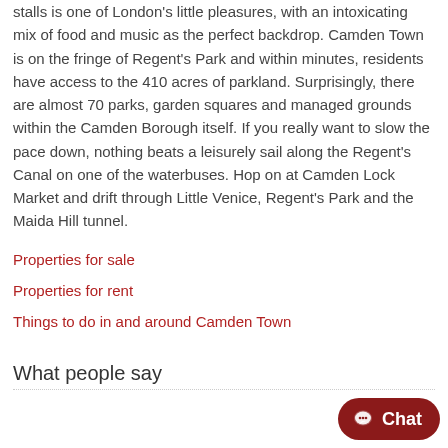stalls is one of London's little pleasures, with an intoxicating mix of food and music as the perfect backdrop. Camden Town is on the fringe of Regent's Park and within minutes, residents have access to the 410 acres of parkland. Surprisingly, there are almost 70 parks, garden squares and managed grounds within the Camden Borough itself. If you really want to slow the pace down, nothing beats a leisurely sail along the Regent's Canal on one of the waterbuses. Hop on at Camden Lock Market and drift through Little Venice, Regent's Park and the Maida Hill tunnel.
Properties for sale
Properties for rent
Things to do in and around Camden Town
What people say